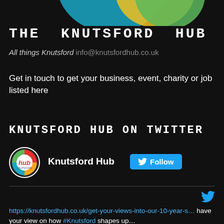[Figure (logo): Colorful circular logo segments (blue, yellow, green) at top of page]
THE KNUTSFORD HUB
All things Knutsford info@knutsfordhub.co.uk
Get in touch to get your business, event, charity or job listed here
KNUTSFORD HUB ON TWITTER
[Figure (logo): Knutsford Hub circular logo with 'hub' text and colorful design]
Knutsford Hub  Follow
https://knutsfordhub.co.uk/get-your-views-into-our-10-year-s… have your view on how #Knutsford shapes up…
↩ 1  Twitter